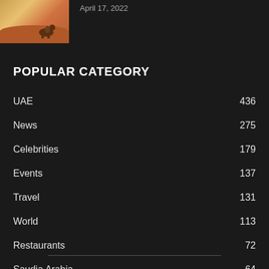[Figure (illustration): Thumbnail image of a desert scene with a camel and sand dunes]
April 17, 2022
POPULAR CATEGORY
UAE  436
News  275
Celebrities  179
Events  137
Travel  131
World  113
Restaurants  72
Saudia Arabia  64